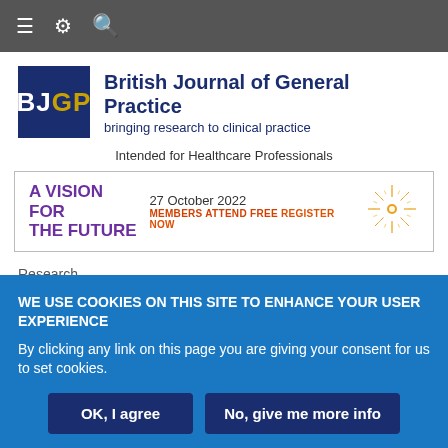≡ ⚙ 🔍
[Figure (logo): BJGP logo — dark blue square with white 'BJ' and gold 'GP' lettering]
British Journal of General Practice
bringing research to clinical practice
Intended for Healthcare Professionals
[Figure (infographic): Advertisement banner: 'A VISION FOR THE FUTURE' in purple, '27 October 2022', 'MEMBERS ATTEND FREE REGISTER NOW' in orange, with a decorative sunburst graphic]
Research
Reducing short-acting beta-
WE USE COOKIES ON THIS SITE TO ENHANCE YOUR USER EXPERIENCE
By clicking any link on this page you are giving your consent for us to set cookies.
OK, I agree | No, give me more info